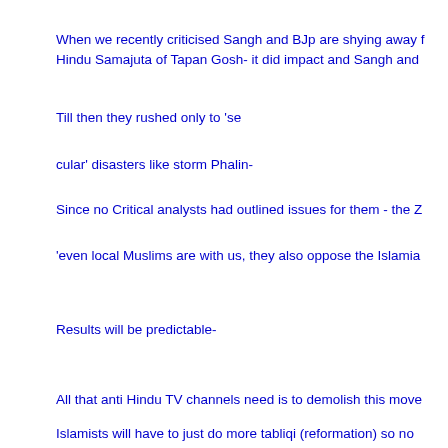When we recently criticised Sangh and BJp are shying away f Hindu Samajuta of Tapan Gosh- it did impact and Sangh and
Till then they rushed only to 'se
cular' disasters like storm Phalin-
Since no Critical analysts had outlined issues for them - the Z
'even local Muslims are with us, they also oppose the Islamia
Results will be predictable-
All that anti Hindu TV channels need is to demolish this move
Islamists will have to just do more tabliqi (reformation) so no